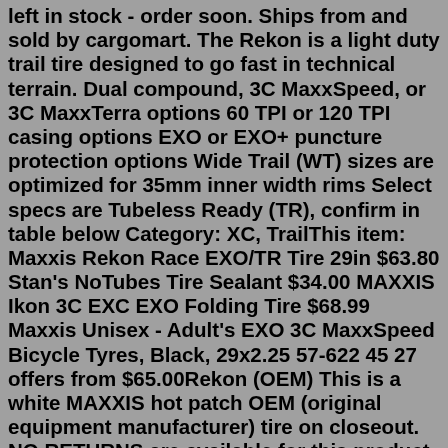left in stock - order soon. Ships from and sold by cargomart. The Rekon is a light duty trail tire designed to go fast in technical terrain. Dual compound, 3C MaxxSpeed, or 3C MaxxTerra options 60 TPI or 120 TPI casing options EXO or EXO+ puncture protection options Wide Trail (WT) sizes are optimized for 35mm inner width rims Select specs are Tubeless Ready (TR), confirm in table below Category: XC, TrailThis item: Maxxis Rekon Race EXO/TR Tire 29in $63.80 Stan's NoTubes Tire Sealant $34.00 MAXXIS Ikon 3C EXC EXO Folding Tire $68.99 Maxxis Unisex - Adult's EXO 3C MaxxSpeed Bicycle Tyres, Black, 29x2.25 57-622 45 27 offers from $65.00Rekon (OEM) This is a white MAXXIS hot patch OEM (original equipment manufacturer) tire on closeout. NO RETURNS are available for this product. OEM products may use combinations of compounds, casing, bead, and puncture protection that are otherwise not available. Please reach out to our customer service team if you have any questions about... The Maxxis Rekon Wide